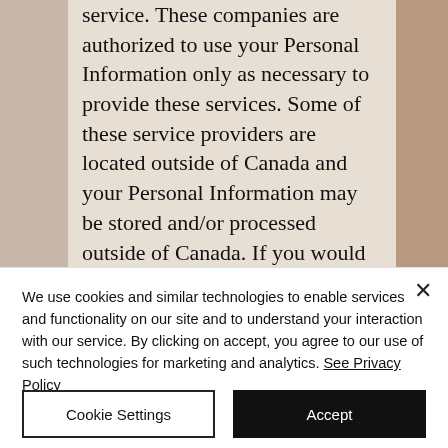[Figure (screenshot): Screenshot of a privacy policy document page showing text about service providers outside of Canada, partially visible, with brownish/beige background. Text reads: 'service. These companies are authorized to use your Personal Information only as necessary to provide these services. Some of these service providers are located outside of Canada and your Personal Information may be stored and/or processed outside of Canada. If you would like more information about our policies concerning our use of service providers outside of Canada, please contact our Privacy Officer at the address listed under "Contact Information" below.']
We use cookies and similar technologies to enable services and functionality on our site and to understand your interaction with our service. By clicking on accept, you agree to our use of such technologies for marketing and analytics. See Privacy Policy